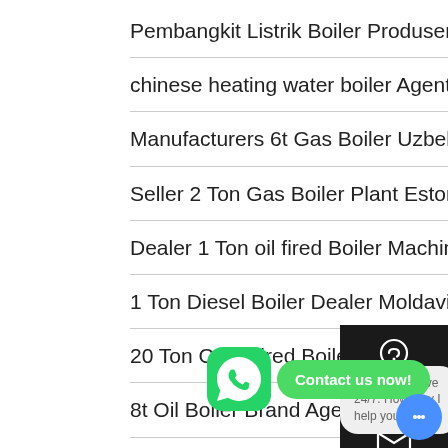Pembangkit Listrik Boiler Produsen
chinese heating water boiler Agents
Manufacturers 6t Gas Boiler Uzbekistan
Seller 2 Ton Gas Boiler Plant Estonia
Dealer 1 Ton oil fired Boiler Machine
1 Ton Diesel Boiler Dealer Moldavia
20 Ton Coal Fired Boiler Plant Russia
8t Oil Boiler Brand Agent
[Figure (infographic): Right-side dark overlay panel with Chat (headset icon), Email (envelope icon), and scroll-to-top arrow. WhatsApp green icon with 'Contact us now!' button. Bottom chat bar: 'Hey, we are live 24/7. How may I help you?' with blue chat bubble circle.]